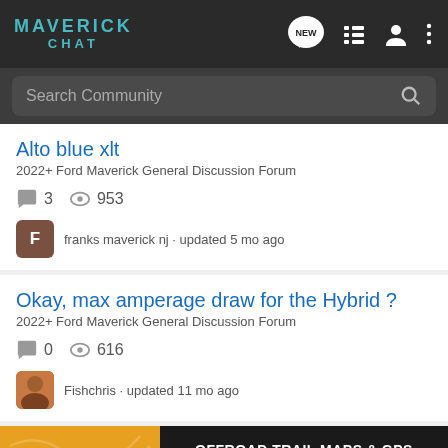MAVERICK CHAT
Search Community
Alto blue xlt
2022+ Ford Maverick General Discussion Forum
3  953
franks maverick nj · updated 5 mo ago
Okay, max amperage draw for the Hybrid ?
2022+ Ford Maverick General Discussion Forum
0  616
Fishchris · updated 11 mo ago
[Figure (other): ON X OFFROAD advertisement banner - OFFROAD TRAIL MAPS & GPS - Try for Free]
2022